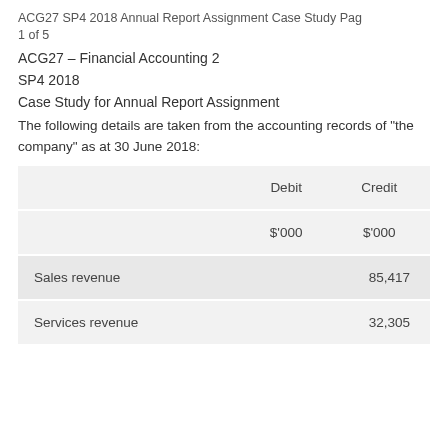ACG27 SP4 2018 Annual Report Assignment Case Study Pag 1 of 5
ACG27 – Financial Accounting 2
SP4 2018
Case Study for Annual Report Assignment
The following details are taken from the accounting records of "the company" as at 30 June 2018:
|  | Debit | Credit |
| --- | --- | --- |
|  | $'000 | $'000 |
| Sales revenue |  | 85,417 |
| Services revenue |  | 32,305 |